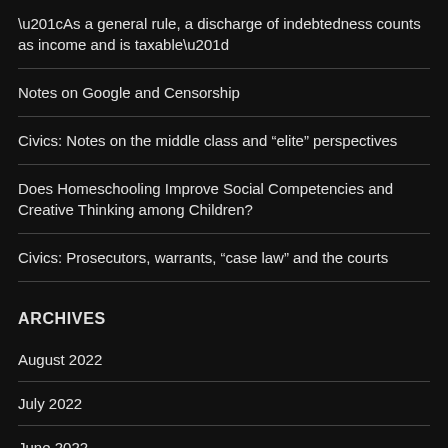“As a general rule, a discharge of indebtedness counts as income and is taxable”
Notes on Google and Censorship
Civics: Notes on the middle class and “elite” perspectives
Does Homeschooling Improve Social Competencies and Creative Thinking among Children?
Civics: Prosecutors, warrants, “case law” and the courts
ARCHIVES
August 2022
July 2022
June 2022
May 2022